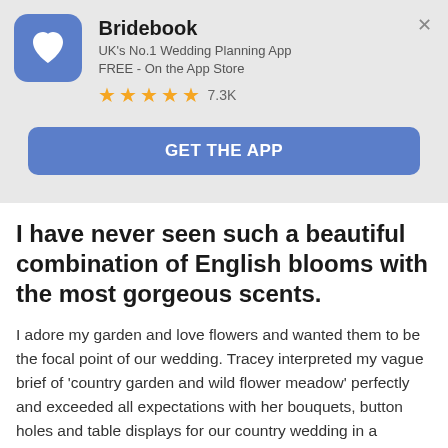[Figure (logo): Bridebook app icon — blue rounded square with white heart/B logo]
Bridebook
UK's No.1 Wedding Planning App
FREE - On the App Store
★★★★★ 7.3K
GET THE APP
I have never seen such a beautiful combination of English blooms with the most gorgeous scents.
I adore my garden and love flowers and wanted them to be the focal point of our wedding. Tracey interpreted my vague brief of 'country garden and wild flower meadow' perfectly and exceeded all expectations with her bouquets, button holes and table displays for our country wedding in a boutique Peak District venue. I have never seen such a beautiful combination of English blooms with the most gorgeous scents. We had our wedding breakfast at one large table and I wanted it to be adorned in mis-matched jewel-coloured glass vases with pretty, vibrant flowers to complement them. Tracey created the most stunning display...